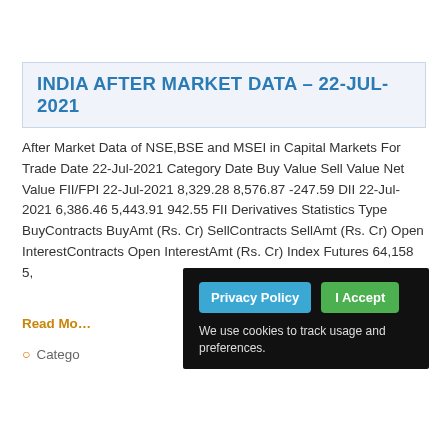INDIA AFTER MARKET DATA – 22-JUL-2021
After Market Data of NSE,BSE and MSEI in Capital Markets For Trade Date 22-Jul-2021 Category Date Buy Value Sell Value Net Value FII/FPI 22-Jul-2021 8,329.28 8,576.87 -247.59 DII 22-Jul-2021 6,386.46 5,443.91 942.55 FII Derivatives Statistics Type BuyContracts BuyAmt (Rs. Cr) SellContracts SellAmt (Rs. Cr) Open InterestContracts Open InterestAmt (Rs. Cr) Index Futures 64,158 5,...
Read Mo...
Category...
[Figure (screenshot): Cookie consent overlay with 'Privacy Policy' button (blue) and 'I Accept' button (green), and text 'We use cookies to track usage and preferences.' on a black background.]